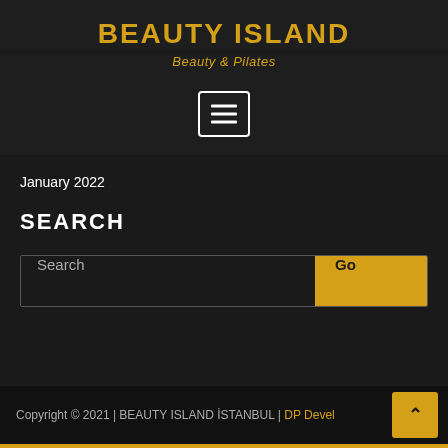BEAUTY ISLAND
Beauty & Pilates
[Figure (other): Hamburger menu icon button with three horizontal white lines inside a white-bordered rounded rectangle]
January 2022
SEARCH
Search
Copyright © 2021 | BEAUTY ISLAND İSTANBUL | DP Devel